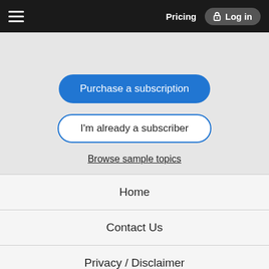Pricing  Log in
Purchase a subscription
I'm already a subscriber
Browse sample topics
[Figure (logo): Unbound Medicine logo — stylized oval with script and text 'unbound MEDICINE']
Home
Contact Us
Privacy / Disclaimer